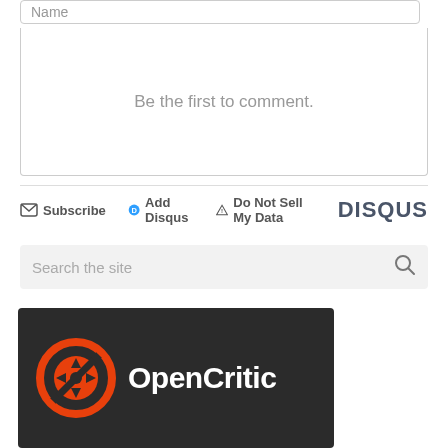Name
Be the first to comment.
Subscribe  Add Disqus  Do Not Sell My Data  DISQUS
Search the site
[Figure (logo): OpenCritic logo on dark background with orange circular game controller icon and white text 'OpenCritic']